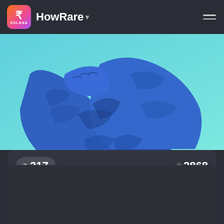HowRare
[Figure (illustration): Blue muscular figure with crossed arms, illustrated NFT artwork on a teal/cyan background]
R 217
# 2868
UNLISTED
NO SALE HISTORY